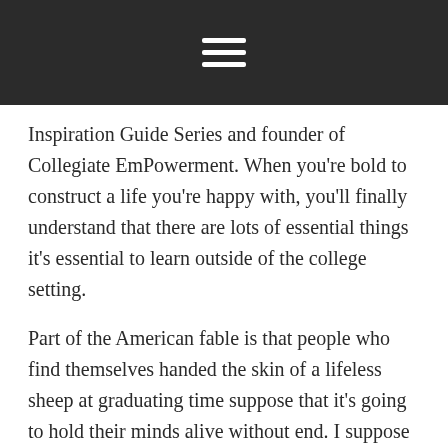≡
Inspiration Guide Series and founder of Collegiate EmPowerment. When you're bold to construct a life you're happy with, you'll finally understand that there are lots of essential things it's essential to learn outside of the college setting.
Part of the American fable is that people who find themselves handed the skin of a lifeless sheep at graduating time suppose that it's going to hold their minds alive without end. I suppose it is as a result of almost all children go to school nowadays, and have issues arranged for them, that they appear so forlornly unable to supply their very own